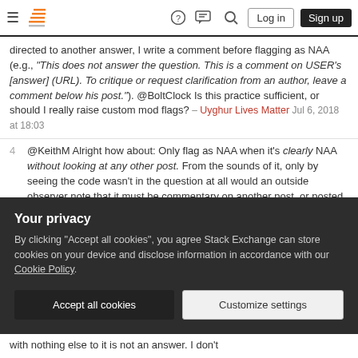Stack Exchange navigation bar with hamburger menu, logo, help, chat, search icons, Log in and Sign up buttons
directed to another answer, I write a comment before flagging as NAA (e.g., "This does not answer the question. This is a comment on USER's [answer] (URL). To critique or request clarification from an author, leave a comment below his post."). @BoltClock Is this practice sufficient, or should I really raise custom mod flags? – Uyghur Lives Matter Jul 6, 2018 at 18:03
4 @KeithM Alright how about: Only flag as NAA when it's clearly NAA without looking at any other post. From the sounds of it, only by seeing the code wasn't in the question at all would an outside observer note that it must be commentary on another post, or posted to the wrong question. – Kendra Jul 6, 2018 at 18:03
Your privacy
By clicking "Accept all cookies", you agree Stack Exchange can store cookies on your device and disclose information in accordance with our Cookie Policy.
Accept all cookies
Customize settings
with nothing else to it is not an answer. I don't